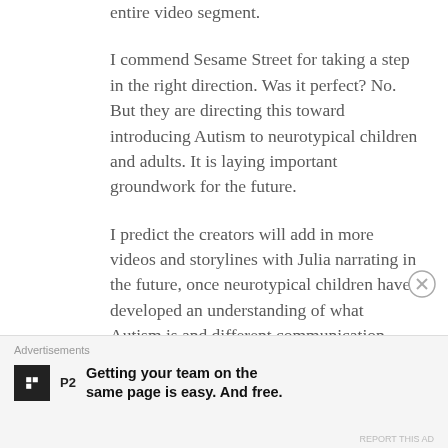entire video segment.

I commend Sesame Street for taking a step in the right direction. Was it perfect? No. But they are directing this toward introducing Autism to neurotypical children and adults. It is laying important groundwork for the future.

I predict the creators will add in more videos and storylines with Julia narrating in the future, once neurotypical children have developed an understanding of what Autism is and different communication
Advertisements
Getting your team on the same page is easy. And free.